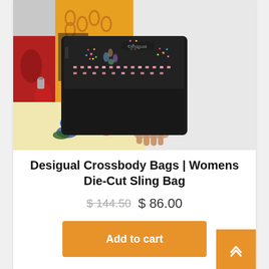[Figure (photo): A person holding a black Desigual crossbody/sling bag with colorful floral and firework-like patterns. The person is wearing a vibrant patterned outfit with red, orange, yellow and blue colors.]
Desigual Crossbody Bags | Womens Die-Cut Sling Bag
$ 144.50  $ 86.00